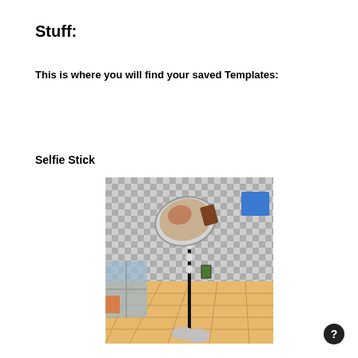Stuff:
This is where you will find your saved Templates:
Selfie Stick
[Figure (screenshot): A screenshot of a VR/virtual environment application showing a selfie stick feature. The virtual room has a grey checkered pattern on walls and ceiling, wooden floor tiles, and room furnishings. A selfie stick extends upward holding a mirror/camera showing a reflected view of the avatar and room. A blue rectangular object floats in the upper right. The avatar's hands hold the black selfie stick at the bottom.]